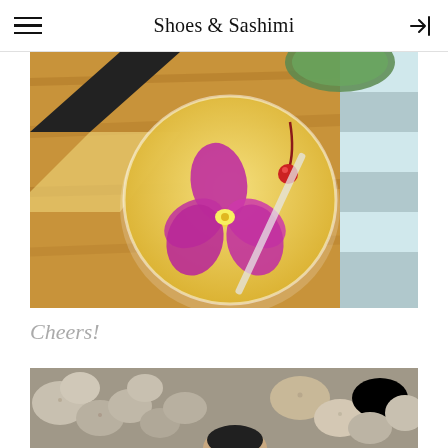Shoes & Sashimi
[Figure (photo): Overhead view of a tropical cocktail in a glass with a maraschino cherry, purple orchid flower garnish, white straw, on a wooden table with another drink partially visible in background and striped towel to the right.]
Cheers!
[Figure (photo): A person partially visible from the top of the head, surrounded by various rocks and stones in shades of gray and tan.]